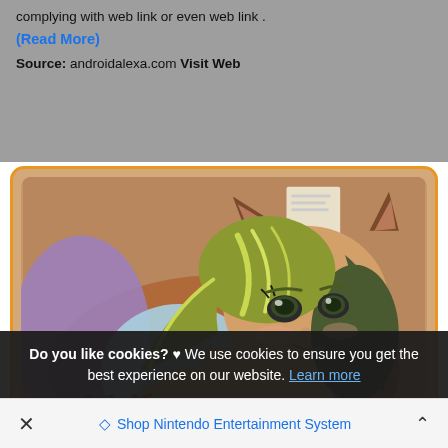complying with web link or even web link .
(Read More)
Source: androidalexa.com Visit Web
[Figure (illustration): Anime-style illustration of a cat-girl character with green/blonde hair, cat ears, and a bell collar, resting her chin on her hand. Partial text 'Waifu' visible at the bottom in red script lettering.]
Do you like cookies? ♥ We use cookies to ensure you get the best experience on our website. Learn more
✕   Shop Nintendo Entertainment System   ∧